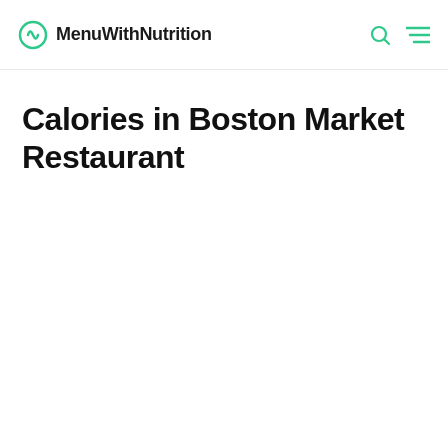MenuWithNutrition
Calories in Boston Market Restaurant